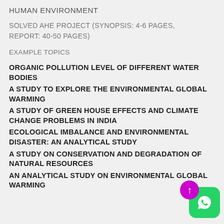HUMAN ENVIRONMENT
SOLVED AHE PROJECT (SYNOPSIS: 4-6 PAGES, REPORT: 40-50 PAGES)
EXAMPLE TOPICS
ORGANIC POLLUTION LEVEL OF DIFFERENT WATER BODIES
A STUDY TO EXPLORE THE ENVIRONMENTAL GLOBAL WARMING
A STUDY OF GREEN HOUSE EFFECTS AND CLIMATE CHANGE PROBLEMS IN INDIA
ECOLOGICAL IMBALANCE AND ENVIRONMENTAL DISASTER: AN ANALYTICAL STUDY
A STUDY ON CONSERVATION AND DEGRADATION OF NATURAL RESOURCES
AN ANALYTICAL STUDY ON ENVIRONMENTAL GLOBAL WARMING